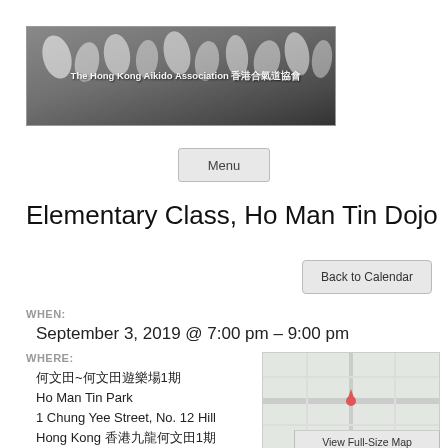[Figure (photo): Banner image of The Hong Kong Aikido Association with practitioners in white uniforms and Chinese/English text overlay]
Menu
Elementary Class, Ho Man Tin Dojo
Back to Calendar
WHEN:
September 3, 2019 @ 7:00 pm – 9:00 pm
WHERE:
何文田~何文田遊樂場1期
Ho Man Tin Park
1 Chung Yee Street, No. 12 Hill
Hong Kong 香港九龍何文田1期
[Figure (map): Map showing Ho Man Tin Park location]
View Full-Size Map